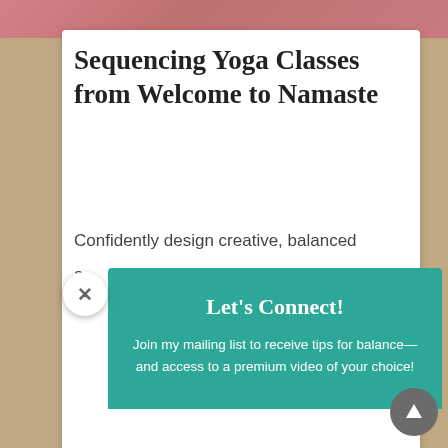[Figure (screenshot): Pink background image at top of page, partially visible]
Sequencing Yoga Classes from Welcome to Namaste
Confidently design creative, balanced a...
[Figure (infographic): Close button (X) circle on left side of popup]
Let's Connect!
Join my mailing list to receive tips for balance—and access to a premium video of your choice!
Enter your email address
SUBSCRIBE!
14